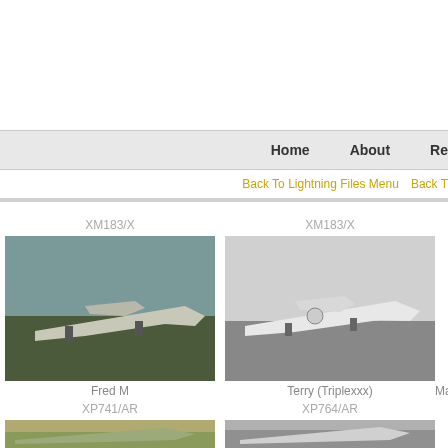Navigation bar with Home, About, Re... links and Back To Lightning Files Menu
XM183/X
[Figure (photo): Color photo of a Lightning jet aircraft on runway, taken by Fred M]
Fred M
XM183/X
[Figure (photo): Black and white photo of a Lightning jet aircraft, taken by Terry (Triplexxx)]
Terry (Triplexxx)
Macks
XP741/AR
[Figure (photo): Color photo of Lightning aircraft on ground, bottom row left]
XP764/AR
[Figure (photo): Color photo of Lightning aircraft, bottom row center]